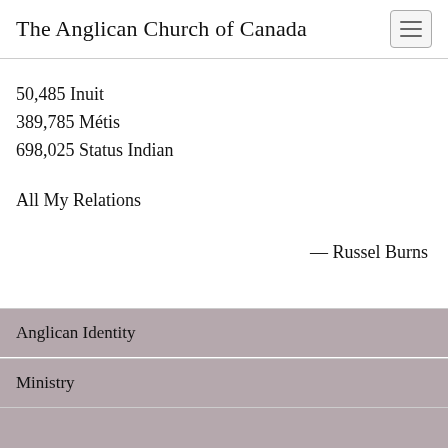The Anglican Church of Canada
50,485 Inuit
389,785 Métis
698,025 Status Indian
All My Relations
— Russel Burns
Anglican Identity
Ministry